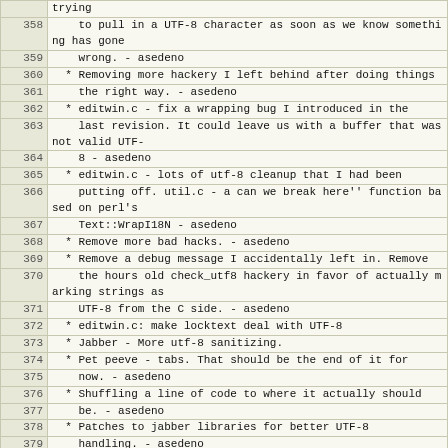| line | content |
| --- | --- |
|  | trying |
| 358 |     to pull in a UTF-8 character as soon as we know something has gone |
| 359 |     wrong. - asedeno |
| 360 |   * Removing more hackery I left behind after doing things |
| 361 |     the right way. - asedeno |
| 362 |   * editwin.c - fix a wrapping bug I introduced in the |
| 363 |     last revision. It could leave us with a buffer that was not valid UTF- |
| 364 |     8 - asedeno |
| 365 |   * editwin.c - lots of utf-8 cleanup that I had been |
| 366 |     putting off. util.c - a can we break here'' function based on perl's |
| 367 |     Text::WrapI18N - asedeno |
| 368 |   * Remove more bad hacks. - asedeno |
| 369 |   * Remove a debug message I accidentally left in. Remove |
| 370 |     the hours old check_utf8 hackery in favor of actually marking strings as |
| 371 |     UTF-8 from the C side. - asedeno |
| 372 |   * editwin.c: make locktext deal with UTF-8 |
| 373 |   * Jabber - More utf-8 sanitizing. |
| 374 |   * Pet peeve - tabs. That should be the end of it for |
| 375 |     now. - asedeno |
| 376 |   * Shuffling a line of code to where it actually should |
| 377 |     be. - asedeno |
| 378 |   * Patches to jabber libraries for better UTF-8 |
| 379 |     handling. - asedeno |
| 380 |   * fix a typo that was causing background problems |
| 381 |   * pass defaults attributes through in the truncate functions - asedeno |